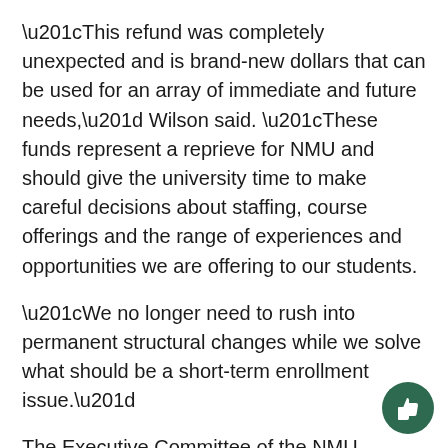“This refund was completely unexpected and is brand-new dollars that can be used for an array of immediate and future needs,” Wilson said. “These funds represent a reprieve for NMU and should give the university time to make careful decisions about staffing, course offerings and the range of experiences and opportunities we are offering to our students.
“We no longer need to rush into permanent structural changes while we solve what should be a short-term enrollment issue.”
The Executive Committee of the NMU Chapter of the AAUP has endorsed Wilson’s comments, calling them an accurate and articulate assessment of the present budgetary state of the university.
[Figure (illustration): Green circle with white thumbs-up icon in bottom-right corner]